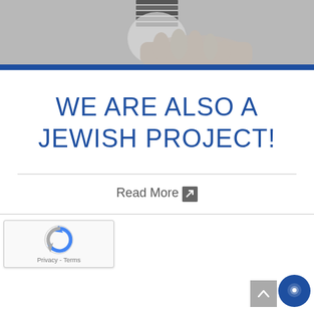[Figure (photo): Black and white photo of a hand holding a light bulb, cropped to show the top portion of the bulb and fingers]
WE ARE ALSO A JEWISH PROJECT!
Read More
[Figure (other): reCAPTCHA widget showing the reCAPTCHA logo with Privacy and Terms links]
[Figure (other): Scroll-to-top button (grey square with upward arrow) and a blue circular chat button]